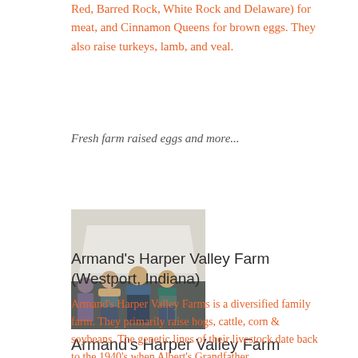Red, Barred Rock, White Rock and Delaware) for meat, and Cinnamon Queens for brown eggs. They also raise turkeys, lamb, and veal.
Fresh farm raised eggs and more...
[Figure (photo): Three people (two women and a man) standing together in front of a white tent/barn structure, smiling at the camera.]
Armand's Harper Valley Farm (Westport, Indiana)
Armand's Harper Valley Farms is a diversified family farm.  They primarily raise hogs, cattle, corn & soybeans.  The genetic lines of their livestock date back to the 1940's when Albert's Grandfather